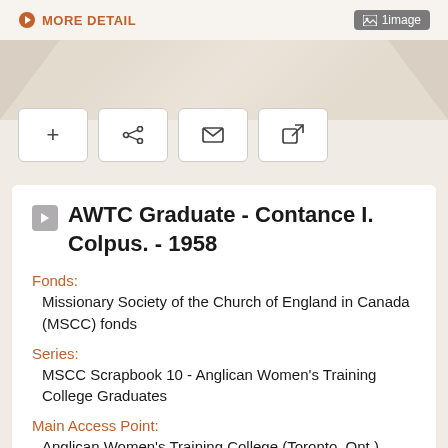MORE DETAIL | 1 image
AWTC Graduate - Contance I. Colpus. - 1958
Fonds:
Missionary Society of the Church of England in Canada (MSCC) fonds
Series:
MSCC Scrapbook 10 - Anglican Women's Training College Graduates
Main Access Point:
Anglican Women's Training College (Toronto, Ont.)
Material Type: